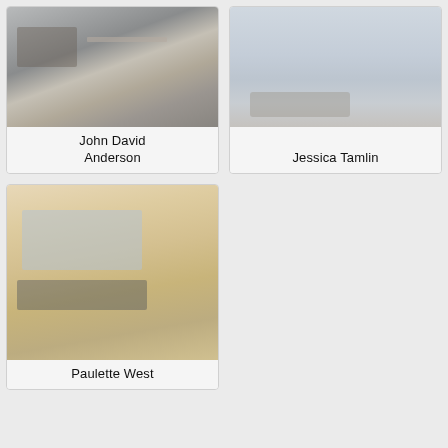[Figure (photo): Muted industrial/construction scene photo for John David Anderson]
John David Anderson
[Figure (photo): Muted outdoor/sky scene photo for Jessica Tamlin]
Jessica Tamlin
[Figure (photo): Warm sandy/tan book cover image for Paulette West]
Paulette West